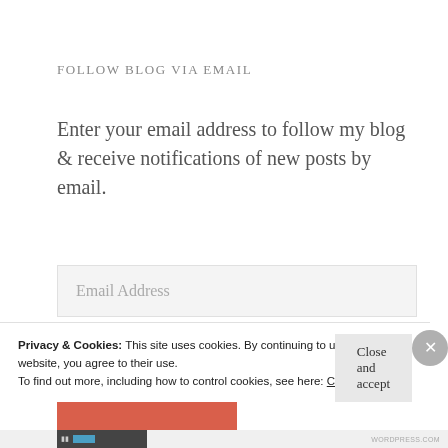Follow Blog via Email
Enter your email address to follow my blog & receive notifications of new posts by email.
Email Address
Follow
Privacy & Cookies: This site uses cookies. By continuing to use this website, you agree to their use.
To find out more, including how to control cookies, see here: Cookie Policy
Close and accept